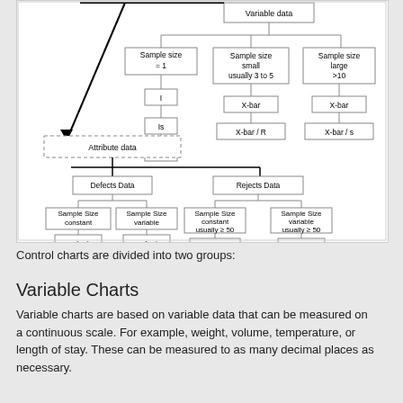[Figure (flowchart): Flowchart showing control chart selection. Top branch: Variable data with three sample size paths (= 1 leading to I, Is, MR; small usually 3 to 5 leading to X-bar and X-bar/R; large >10 leading to X-bar and X-bar/s). Bottom branch: Attribute data splitting into Defects Data (Sample Size constant → c chart; Sample Size variable → u chart) and Rejects Data (Sample Size constant usually ≥ 50 → np chart; Sample Size variable usually ≥ 50 → p chart).]
Control charts are divided into two groups:
Variable Charts
Variable charts are based on variable data that can be measured on a continuous scale.  For example, weight, volume, temperature, or length of stay.  These can be measured to as many decimal places as necessary.